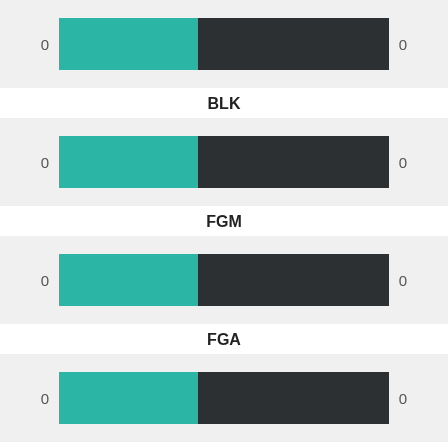[Figure (bar-chart): BLK]
BLK
[Figure (bar-chart): FGM]
FGM
[Figure (bar-chart): FGA]
FGA
[Figure (bar-chart): FG%]
FG%
[Figure (bar-chart): ]